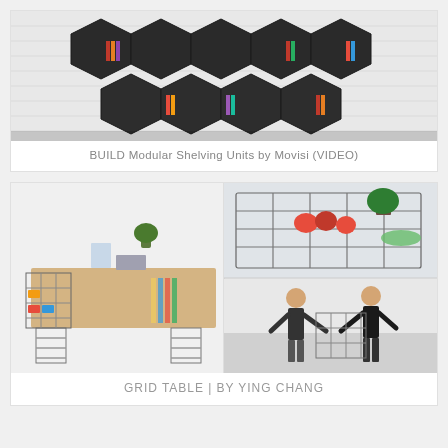[Figure (photo): BUILD Modular Shelving Units by Movisi — dark hexagonal/honeycomb shaped modular shelving units arranged on a white brick wall background, with books and objects inside some compartments.]
BUILD Modular Shelving Units by Movisi (VIDEO)
[Figure (photo): Grid Table by Ying Chang — a modular wire grid desk/table with various items on top and in compartments (laptop, books, food items, plants), plus two detail images showing the wire grid structure with fruits and two people assembling the table.]
GRID TABLE | BY YING CHANG